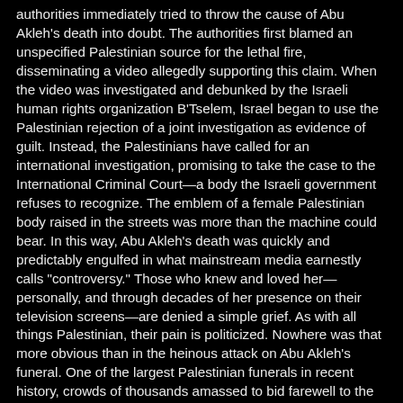authorities immediately tried to throw the cause of Abu Akleh's death into doubt. The authorities first blamed an unspecified Palestinian source for the lethal fire, disseminating a video allegedly supporting this claim. When the video was investigated and debunked by the Israeli human rights organization B'Tselem, Israel began to use the Palestinian rejection of a joint investigation as evidence of guilt. Instead, the Palestinians have called for an international investigation, promising to take the case to the International Criminal Court—a body the Israeli government refuses to recognize. The emblem of a female Palestinian body raised in the streets was more than the machine could bear. In this way, Abu Akleh's death was quickly and predictably engulfed in what mainstream media earnestly calls "controversy." Those who knew and loved her—personally, and through decades of her presence on their television screens—are denied a simple grief. As with all things Palestinian, their pain is politicized. Nowhere was that more obvious than in the heinous attack on Abu Akleh's funeral. One of the largest Palestinian funerals in recent history, crowds of thousands amassed to bid farewell to the cherished journalist. Her body emerged from an East Jerusalem hospital held aloft by a group of pallbearers. Abruptly, a phalanx of heavily armed riot police launched on the procession, beating the mourners with batons and their bare fists. As the blows